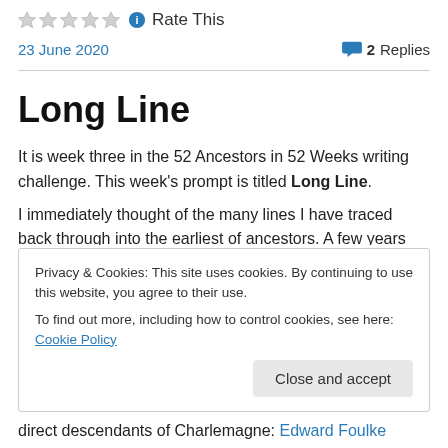Rate This
23 June 2020    2 Replies
Long Line
It is week three in the 52 Ancestors in 52 Weeks writing challenge. This week's prompt is titled Long Line.
I immediately thought of the many lines I have traced back through into the earliest of...
Privacy & Cookies: This site uses cookies. By continuing to use this website, you agree to their use.
To find out more, including how to control cookies, see here: Cookie Policy
direct descendants of Charlemagne: Edward Foulke